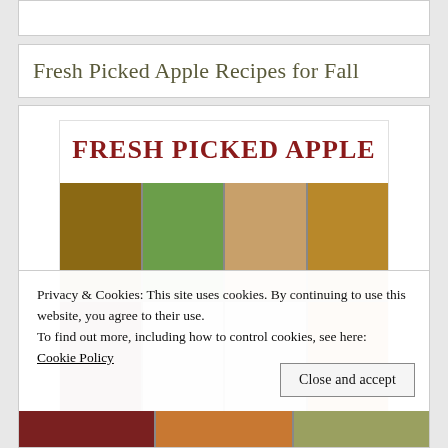Fresh Picked Apple Recipes for Fall
[Figure (photo): Recipe collection image showing 'FRESH PICKED APPLE' text in red with a grid of food photos including baked goods, drinks, pastries, soup, and desserts]
Privacy & Cookies: This site uses cookies. By continuing to use this website, you agree to their use.
To find out more, including how to control cookies, see here:
Cookie Policy
Close and accept